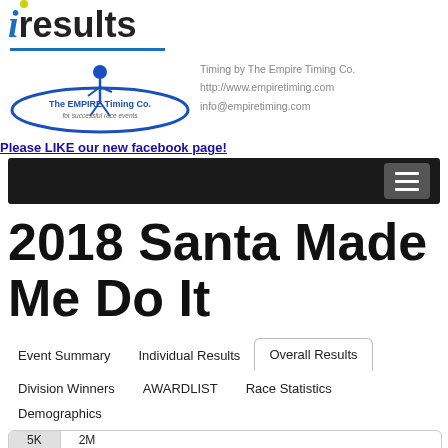[Figure (logo): iresults logo with blue italic i and bold results text and yellow-green dot]
[Figure (logo): The Empire Timing Co. logo with runner figure and oval, for successful race events]
Timing by The Empire Timing Co.
http://www.empiretiming.com
info@empiretiming.com
Please LIKE our new facebook page!
[Figure (screenshot): Black navigation bar with hamburger menu icon on right]
2018 Santa Made Me Do It
Event Summary	Individual Results	Overall Results
Division Winners	AWARDLIST	Race Statistics
Demographics
5K	2M